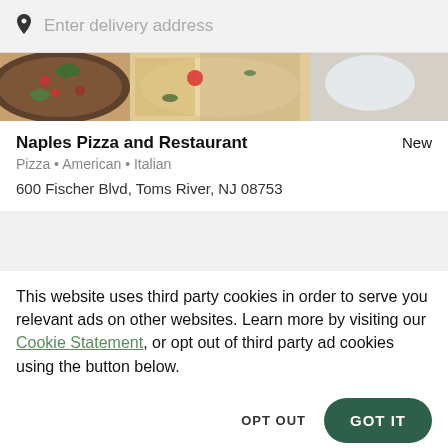[Figure (screenshot): Search bar with location pin icon and 'Enter delivery address' placeholder text]
[Figure (photo): Food photo banner showing pizza and various dishes from above]
Naples Pizza and Restaurant
New
Pizza • American • Italian
600 Fischer Blvd, Toms River, NJ 08753
[Figure (other): Gray placeholder content block]
This website uses third party cookies in order to serve you relevant ads on other websites. Learn more by visiting our Cookie Statement, or opt out of third party ad cookies using the button below.
OPT OUT
GOT IT